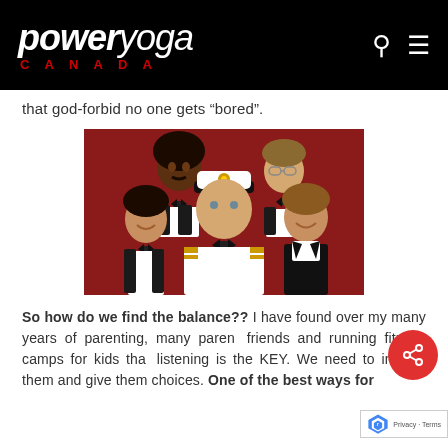power yoga CANADA
that god-forbid no one gets “bored”.
[Figure (photo): Group photo of five people in formal attire including a naval captain in white uniform with cap in the center, against a red background — resembling the cast of The Love Boat TV show.]
So how do we find the balance?? I have found over my many years of parenting, many parent friends and running fitness camps for kids that listening is the KEY. We need to involve them and give them choices. One of the best ways for